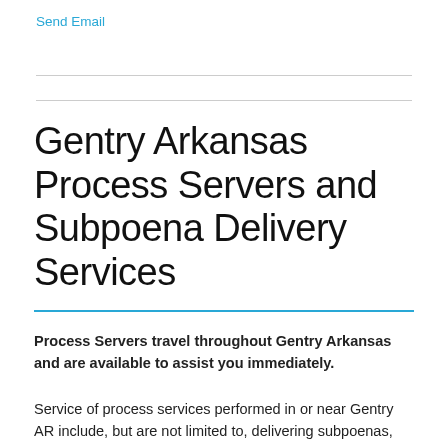Send Email
Gentry Arkansas Process Servers and Subpoena Delivery Services
Process Servers travel throughout Gentry Arkansas and are available to assist you immediately.
Service of process services performed in or near Gentry AR include, but are not limited to, delivering subpoenas, demand letters, orders, notifications, and serving lawsuits to people and